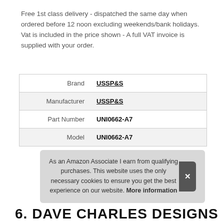Free 1st class delivery - dispatched the same day when ordered before 12 noon excluding weekends/bank holidays. Vat is included in the price shown - A full VAT invoice is supplied with your order.
| Brand | USSP&S |
| Manufacturer | USSP&S |
| Part Number | UNI0662-A7 |
| Model | UNI0662-A7 |
As an Amazon Associate I earn from qualifying purchases. This website uses the only necessary cookies to ensure you get the best experience on our website. More information
6. DAVE CHARLES DESIGNS